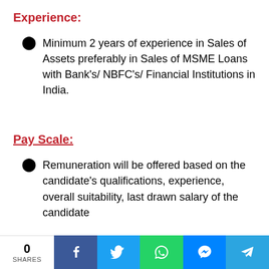Experience:
Minimum 2 years of experience in Sales of Assets preferably in Sales of MSME Loans with Bank's/ NBFC's/ Financial Institutions in India.
Pay Scale:
Remuneration will be offered based on the candidate's qualifications, experience, overall suitability, last drawn salary of the candidate
0 SHARES | Facebook | Twitter | WhatsApp | Messenger | Telegram